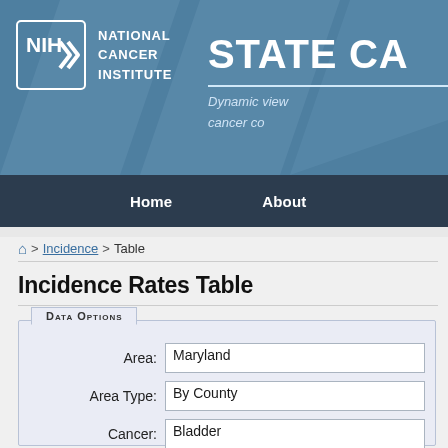NIH National Cancer Institute — STATE CA... Dynamic view... cancer co...
Home   About
🏠 > Incidence > Table
Incidence Rates Table
| Field | Value |
| --- | --- |
| Area: | Maryland |
| Area Type: | By County |
| Cancer: | Bladder |